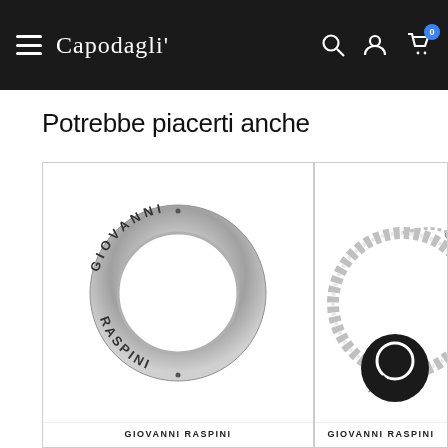Capodagli - navigation header with logo, search, account, cart (0)
Potrebbe piacerti anche
[Figure (photo): Silver ring engraved with GIOVANNI RASPINI brand text around the band]
GIOVANNI RASPINI
[Figure (photo): Silver chain bracelet/ring with crystal stones (partially visible, cropped at right edge), with a chat widget overlay in lower right corner]
GIOVANNI RASPINI